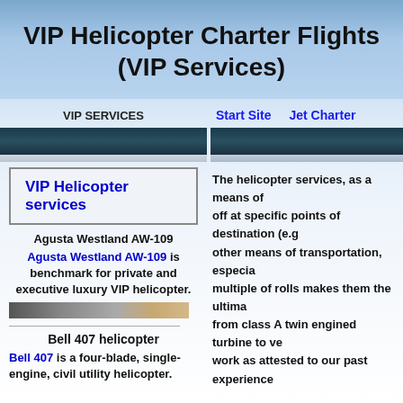VIP Helicopter Charter Flights (VIP Services)
VIP SERVICES | Start Site | Jet Charter
VIP Helicopter services
Agusta Westland AW-109
Agusta Westland AW-109 is benchmark for private and executive luxury VIP helicopter.
The helicopter services, as a means of off at specific points of destination (e.g other means of transportation, especia multiple of rolls makes them the ultima from class A twin engined turbine to ve work as attested to our past experience
Bell 407 helicopter
Bell 407 is a four-blade, single-engine, civil utility helicopter.